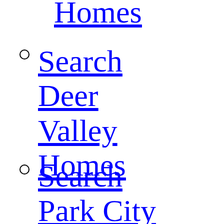Homes
Search Deer Valley Homes
Search Park City